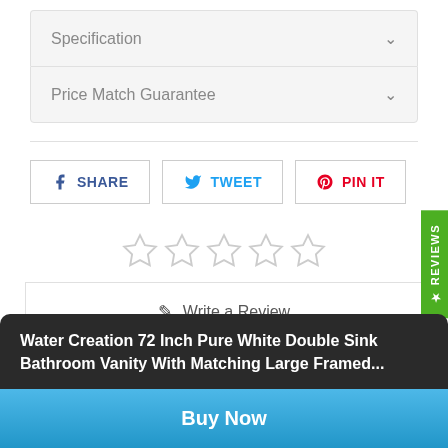Specification
Price Match Guarantee
[Figure (other): Five empty star rating icons in a row]
Write a Review
Water Creation 72 Inch Pure White Double Sink Bathroom Vanity With Matching Large Framed...
Buy Now